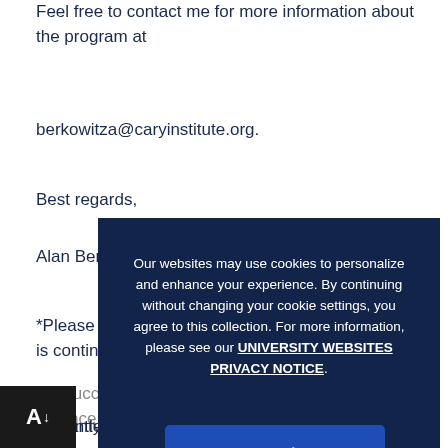Feel free to contact me for more information about the program at
berkowitza@caryinstitute.org.
Best regards,
Alan Berkowitz, Cary REU Program Director
*Please note: Our ability to run the program in 2021 is contingent upon
the success of a grant proposal to the National Science Foundation
currently in review. Furthermore, adjustments to the program may be
warranted due to the on-going Covid-19 pandemic.
[Figure (screenshot): Cookie consent overlay on a dark navy background reading: Our websites may use cookies to personalize and enhance your experience. By continuing without changing your cookie settings, you agree to this collection. For more information, please see our UNIVERSITY WEBSITES PRIVACY NOTICE. With an OK button below.]